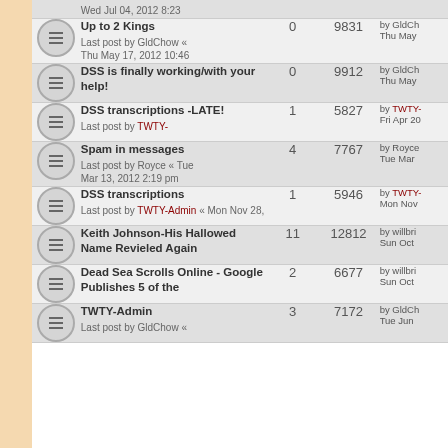| Topic | Replies | Views | Last post |
| --- | --- | --- | --- |
| Wed Jul 04, 2012 8:23 |  |  |  |
| Up to 2 Kings
Last post by GldChow « Thu May 17, 2012 10:46 | 0 | 9831 | by GldCh Thu May |
| DSS is finally working/with your help! | 0 | 9912 | by GldCh Thu May |
| DSS transcriptions -LATE!
Last post by TWTY- | 1 | 5827 | by TWTY- Fri Apr 20 |
| Spam in messages
Last post by Royce « Tue Mar 13, 2012 2:19 pm | 4 | 7767 | by Royce Tue Mar |
| DSS transcriptions
Last post by TWTY-Admin « Mon Nov 28, | 1 | 5946 | by TWTY- Mon Nov |
| Keith Johnson-His Hallowed Name Revieled Again | 11 | 12812 | by willbri Sun Oct |
| Dead Sea Scrolls Online - Google Publishes 5 of the | 2 | 6677 | by willbri Sun Oct |
| TWTY-Admin
Last post by GldChow « | 3 | 7172 | by GldCh Tue Jun |